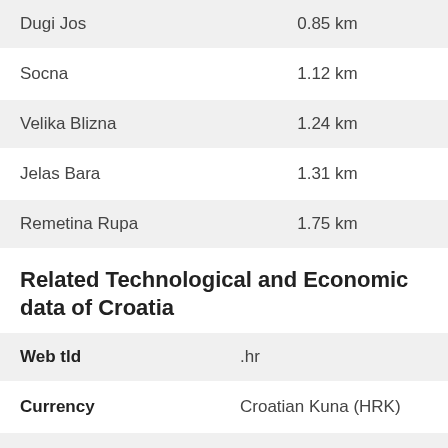| Location | Distance |
| --- | --- |
| Dugi Jos | 0.85 km |
| Socna | 1.12 km |
| Velika Blizna | 1.24 km |
| Jelas Bara | 1.31 km |
| Remetina Rupa | 1.75 km |
Related Technological and Economic data of Croatia
| Field | Value |
| --- | --- |
| Web tld | .hr |
| Currency | Croatian Kuna (HRK) |
| Phone Code | 385 |